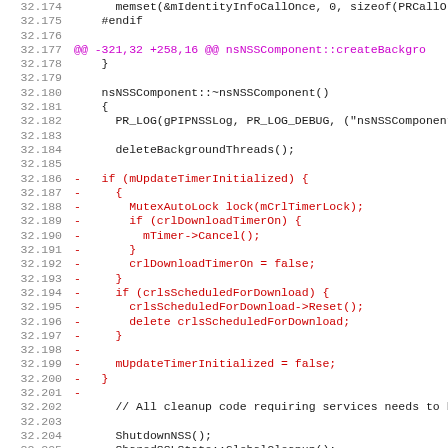[Figure (screenshot): Source code diff view showing lines 32.174 to 32.205 of a C++ file. Line numbers shown in grey on the left. Lines with removed code are shown in red with a leading dash. A diff hunk header is shown in magenta. Regular code lines shown in dark/black.]